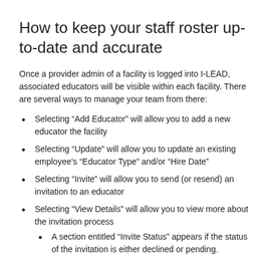How to keep your staff roster up-to-date and accurate
Once a provider admin of a facility is logged into I-LEAD, associated educators will be visible within each facility. There are several ways to manage your team from there:
Selecting “Add Educator” will allow you to add a new educator the facility
Selecting “Update” will allow you to update an existing employee’s “Educator Type” and/or “Hire Date”
Selecting “Invite” will allow you to send (or resend) an invitation to an educator
Selecting “View Details” will allow you to view more about the invitation process
A section entitled “Invite Status” appears if the status of the invitation is either declined or pending.